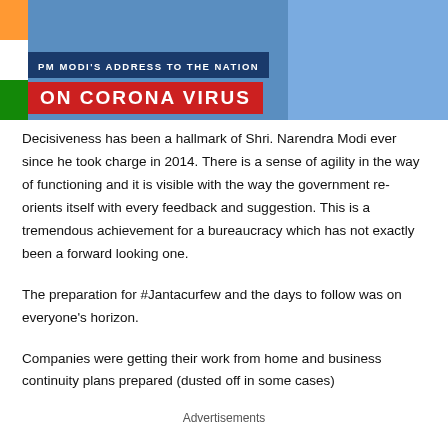[Figure (photo): PM Modi's address to the nation on Corona Virus banner with Indian flag colors and figure of PM Modi in background]
Decisiveness has been a hallmark of Shri. Narendra Modi ever since he took charge in 2014. There is a sense of agility in the way of functioning and it is visible with the way the government re-orients itself with every feedback and suggestion. This is a tremendous achievement for a bureaucracy which has not exactly been a forward looking one.
The preparation for #Jantacurfew and the days to follow was on everyone's horizon.
Companies were getting their work from home and business continuity plans prepared (dusted off in some cases)
Advertisements